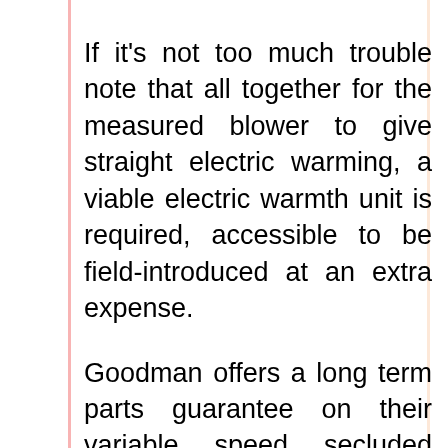If it's not too much trouble note that all together for the measured blower to give straight electric warming, a viable electric warmth unit is required, accessible to be field-introduced at an extra expense.
Goodman offers a long term parts guarantee on their variable speed secluded blowers when your establishment that follows your state and nearby codes. If it's not
[Figure (other): Advertisement banner showing Topgolf logo with checkmark Dine-in and X Delivery options, with a blue navigation arrow diamond icon, and close/play controls below]